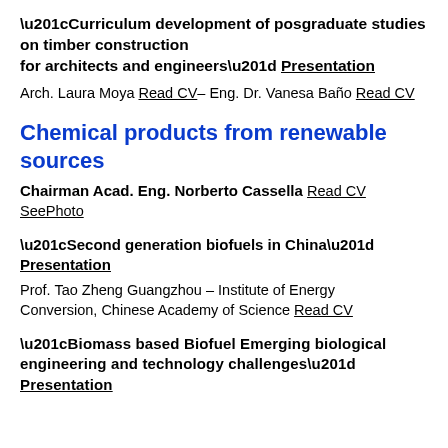“Curriculum development of posgraduate studies on timber construction for architects and engineers” Presentation
Arch. Laura Moya Read CV– Eng. Dr. Vanesa Baño Read CV
Chemical products from renewable sources
Chairman Acad. Eng. Norberto Cassella Read CV SeePhoto
“Second generation biofuels in China” Presentation
Prof. Tao Zheng Guangzhou – Institute of Energy Conversion, Chinese Academy of Science Read CV
“Biomass based Biofuel Emerging biological engineering and technology challenges” Presentation